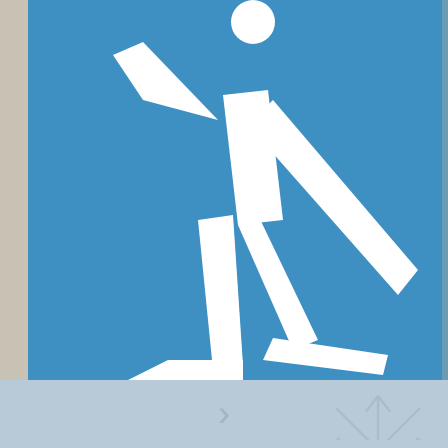[Figure (illustration): PyeongChang 2018 Winter Olympics sports pictogram showing a cross-country skier (or biathlete) in action — white silhouette figure on a blue background, dynamic pose with poles and skis extended.]
>
PyeongChang 2018 – Sports Pictograms
Designer: Ham Young Hoon